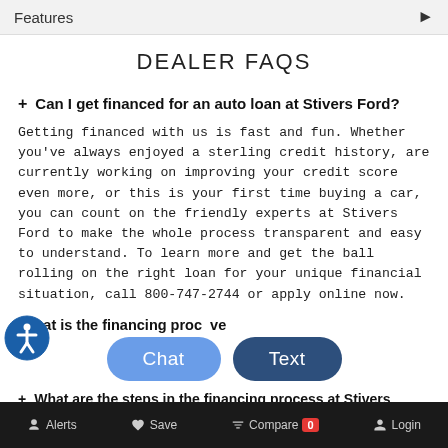Features ►
DEALER FAQS
+ Can I get financed for an auto loan at Stivers Ford?
Getting financed with us is fast and fun. Whether you've always enjoyed a sterling credit history, are currently working on improving your credit score even more, or this is your first time buying a car, you can count on the friendly experts at Stivers Ford to make the whole process transparent and easy to understand. To learn more and get the ball rolling on the right loan for your unique financial situation, call 800-747-2744 or apply online now.
+ What is the financing proc... ve
+ What are the steps in the financing process at Stivers Ford?
Alerts  Save  Compare 0  Login